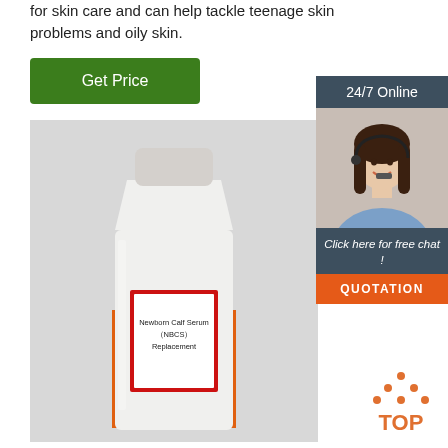for skin care and can help tackle teenage skin problems and oily skin.
[Figure (other): Green 'Get Price' button]
[Figure (photo): Photo of a laboratory bottle labeled 'Newborn Calf Serum (NBCS) Replacement' containing orange liquid against a gray background]
[Figure (infographic): Sidebar panel with '24/7 Online' header, photo of a woman with headset, 'Click here for free chat!' text, and 'QUOTATION' orange button]
[Figure (logo): Orange 'TOP' logo with dots arranged in triangle shape]